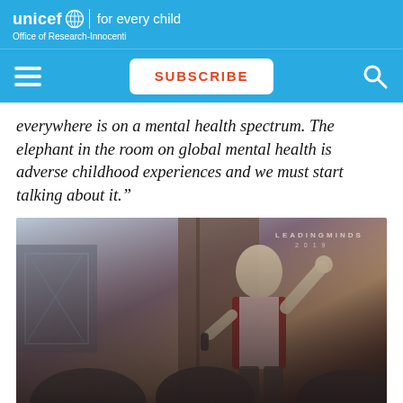unicef | for every child
Office of Research-Innocenti
SUBSCRIBE
everywhere is on a mental health spectrum. The elephant in the room on global mental health is adverse childhood experiences and we must start talking about it."
[Figure (photo): Dr Vikram Patel speaking at a Leading Minds 2019 event, holding a microphone with one hand raised, wearing a dark red vest over white shirt, audience members visible in foreground]
Dr Vikram Patel, Pershing Professor of Global Health